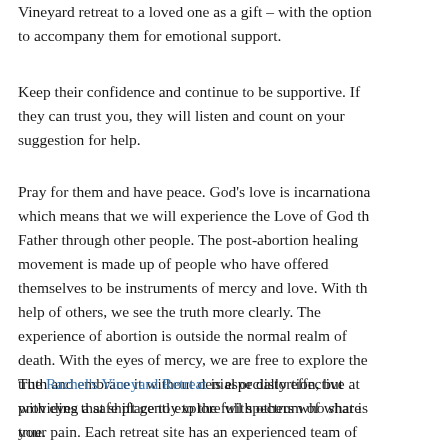Vineyard retreat to a loved one as a gift – with the option to accompany them for emotional support.
Keep their confidence and continue to be supportive. If they can trust you, they will listen and count on your suggestion for help.
Pray for them and have peace. God's love is incarnational, which means that we will experience the Love of God the Father through other people. The post-abortion healing movement is made up of people who have offered themselves to be instruments of mercy and love. With the help of others, we see the truth more clearly. The experience of abortion is outside the normal realm of death. With the eyes of mercy, we are free to explore the truth and embrace it without denial or distortion, but with eyes that shift gently to the full spectrum of what is true.
The Rachel's Vineyard Retreat is especially effective at providing a safe place to explore with others who share your pain. Each retreat site has an experienced team of